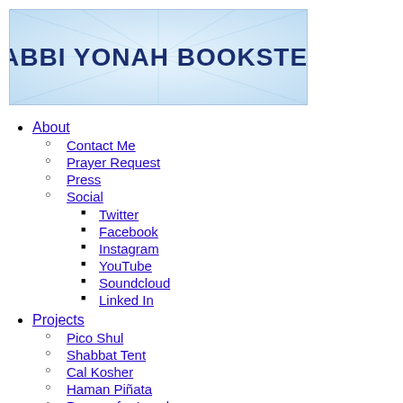[Figure (logo): Rabbi Yonah Bookstein banner logo with light blue gradient background and dark blue bold text reading RABBI YONAH BOOKSTEIN]
About
Contact Me
Prayer Request
Press
Social
Twitter
Facebook
Instagram
YouTube
Soundcloud
Linked In
Projects
Pico Shul
Shabbat Tent
Cal Kosher
Haman Piñata
Prayers for Israel
Judaism